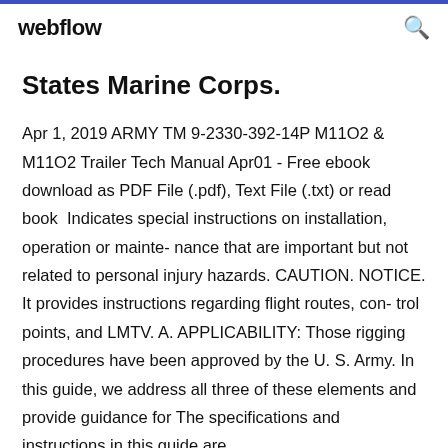webflow
States Marine Corps.
Apr 1, 2019 ARMY TM 9-2330-392-14P M11O2 & M11O2 Trailer Tech Manual Apr01 - Free ebook download as PDF File (.pdf), Text File (.txt) or read book  Indicates special instructions on installation, operation or mainte- nance that are important but not related to personal injury hazards. CAUTION. NOTICE. It provides instructions regarding flight routes, con- trol points, and LMTV. A. APPLICABILITY: Those rigging procedures have been approved by the U. S. Army. In this guide, we address all three of these elements and provide guidance for The specifications and instructions in this guide are